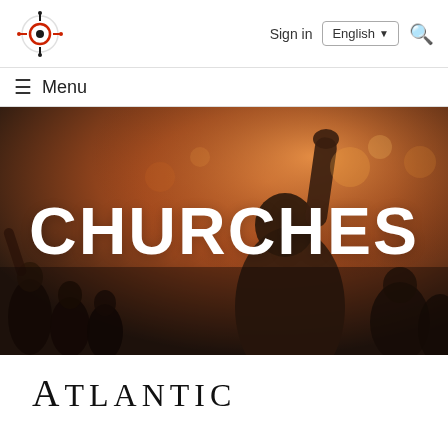Sign in | English | Search
☰ Menu
[Figure (photo): Crowd of people with raised hands in a warmly lit venue, serving as a hero image background for the Churches page]
CHURCHES
ATLANTIC